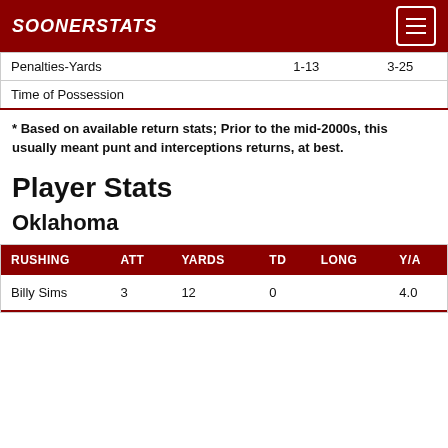SOONERSTATS
|  |  |  |
| --- | --- | --- |
| Penalties-Yards | 1-13 | 3-25 |
| Time of Possession |  |  |
* Based on available return stats; Prior to the mid-2000s, this usually meant punt and interceptions returns, at best.
Player Stats
Oklahoma
| RUSHING | ATT | YARDS | TD | LONG | Y/A |
| --- | --- | --- | --- | --- | --- |
| Billy Sims | 3 | 12 | 0 |  | 4.0 |